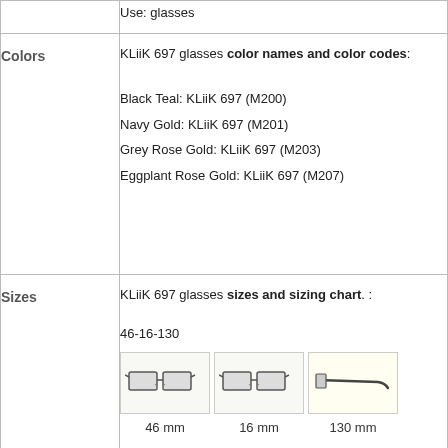| Use: | Use: glasses |
| Colors | KLiiK 697 glasses color names and color codes:
Black Teal: KLiiK 697 (M200)
Navy Gold: KLiiK 697 (M201)
Grey Rose Gold: KLiiK 697 (M203)
Eggplant Rose Gold: KLiiK 697 (M207) |
| Sizes | KLiiK 697 glasses sizes and sizing chart. :
46-16-130
[images: 46 mm, 16 mm, 130 mm]
Please note that when buying eyeglasses online that were manufactured in more than one size, you need to be attentive, especially if you are buying eyeglasses frames for replacement. Prescription lenses from old... |